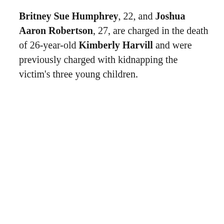Britney Sue Humphrey, 22, and Joshua Aaron Robertson, 27, are charged in the death of 26-year-old Kimberly Harvill and were previously charged with kidnapping the victim's three young children.